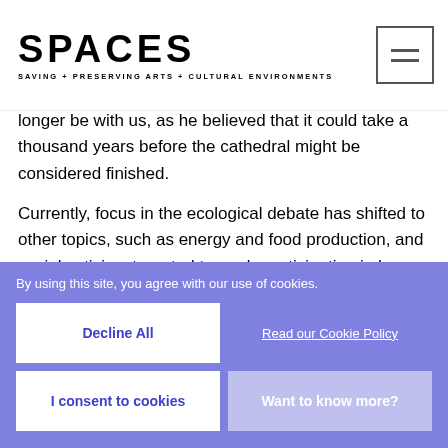SPACES — SAVING + PRESERVING ARTS + CULTURAL ENVIRONMENTS
longer be with us, as he believed that it could take a thousand years before the cathedral might be considered finished.
Currently, focus in the ecological debate has shifted to other topics, such as energy and food production, and social activism targeted towards participating in le Roy's project is not as forceful, so the future of the Eco-Cathedral will depend upon the enthusiasm and devotion of volunteers to continue to collectively construct and
By using this site, you agree with our use of cookies.
Decline All
Read our Cookie Policy
I consent to cookies
Want to know more?